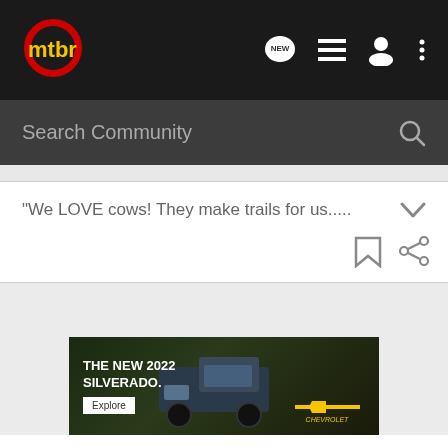[Figure (screenshot): MTBR website navigation bar with logo, search bar, and forum post preview on a mobile screen layout]
mtbr
Search Community
"We LOVE cows! They make trails for us.....
[Figure (photo): Chevrolet advertisement banner showing The New 2022 Silverado truck with Explore button and Chevrolet logo]